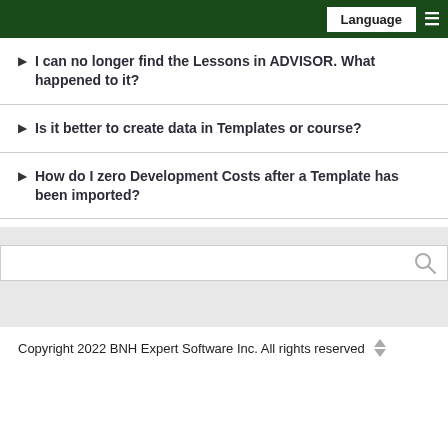Language
I can no longer find the Lessons in ADVISOR. What happened to it?
Is it better to create data in Templates or course?
How do I zero Development Costs after a Template has been imported?
[Figure (screenshot): Search box with magnifying glass icon on gray background]
Copyright 2022 BNH Expert Software Inc. All rights reserved